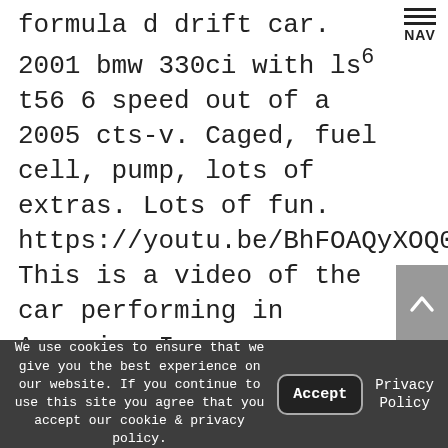formula d drift car. 2001 bmw 330ci with ls6 t56 6 speed out of a 2005 cts-v. Caged, fuel cell, pump, lots of extras. Lots of fun. https://youtu.be/BhFOAQyXOQ0. This is a video of the car performing in Armenia. I...
We use cookies to ensure that we give you the best experience on our website. If you continue to use this site you agree that you accept our cookie & privacy policy.